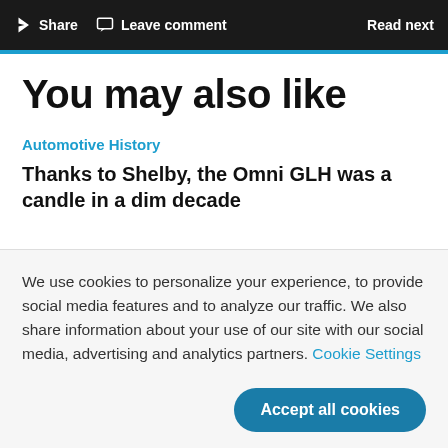Share  Leave comment  Read next
You may also like
Automotive History
Thanks to Shelby, the Omni GLH was a candle in a dim decade
We use cookies to personalize your experience, to provide social media features and to analyze our traffic. We also share information about your use of our site with our social media, advertising and analytics partners. Cookie Settings
Accept all cookies